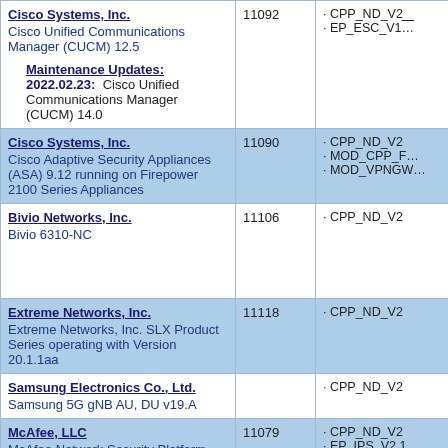| Vendor / Product | Cert ID | PP Claims |
| --- | --- | --- |
| Cisco Systems, Inc.
Cisco Unified Communications Manager (CUCM) 12.5

Maintenance Updates:
2022.02.23: Cisco Unified Communications Manager (CUCM) 14.0 | 11092 | · CPP_ND_V2...
· EP_ESC_V1... |
| Cisco Systems, Inc.
Cisco Adaptive Security Appliances (ASA) 9.12 running on Firepower 2100 Series Appliances | 11090 | · CPP_ND_V2
· MOD_CPP_F...
· MOD_VPNGW... |
| Bivio Networks, Inc.
Bivio 6310-NC | 11106 | · CPP_ND_V2 |
| Extreme Networks, Inc.
Extreme Networks, Inc. SLX Product Series operating with Version 20.1.1aa | 11118 | · CPP_ND_V2 |
| Samsung Electronics Co., Ltd.
Samsung 5G gNB AU, DU v19.A |  | · CPP_ND_V2 |
| McAfee, LLC
McAfee Network Security Platform (NSM Linux Appliance v10.1.19.17 and NS Sensor | 11079 | · CPP_ND_V2
· EP_IPS_V2.1... |